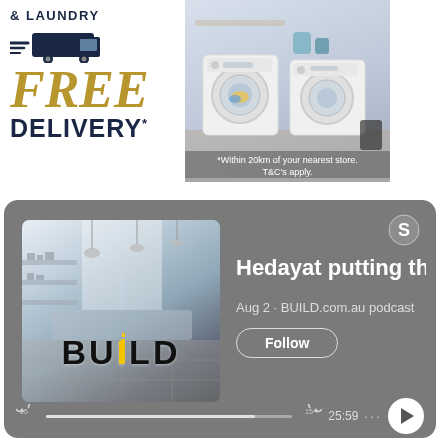[Figure (infographic): Advertisement banner for free delivery on laundry appliances. Shows a delivery truck icon, 'FREE DELIVERY*' text in navy and gold, washing machines photo on right, disclaimer '*Within 20km of your nearest store. T&C's apply.']
[Figure (screenshot): Spotify podcast player card showing the BUILD podcast episode 'Hedayat putting the U', Aug 2 · BUILD.com.au podcast, with Follow button, progress bar showing 25:59, play button, and Spotify logo.]